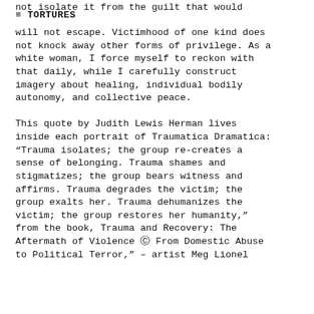TORTURES
will not escape. Victimhood of one kind does not knock away other forms of privilege. As a white woman, I force myself to reckon with that daily, while I carefully construct imagery about healing, individual bodily autonomy, and collective peace.

This quote by Judith Lewis Herman lives inside each portrait of Traumatica Dramatica: “Trauma isolates; the group re-creates a sense of belonging. Trauma shames and stigmatizes; the group bears witness and affirms. Trauma degrades the victim; the group exalts her. Trauma dehumanizes the victim; the group restores her humanity,” from the book, Trauma and Recovery: The Aftermath of Violence Ⓒ From Domestic Abuse to Political Terror,” – artist Meg Lionel